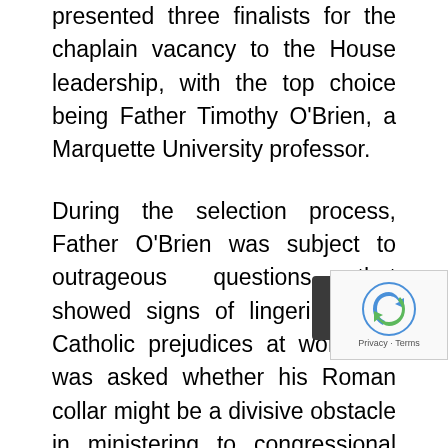presented three finalists for the chaplain vacancy to the House leadership, with the top choice being Father Timothy O'Brien, a Marquette University professor.
During the selection process, Father O'Brien was subject to outrageous questions that showed signs of lingering anti-Catholic prejudices at work. He was asked whether his Roman collar might be a divisive obstacle in ministering to congressional representatives, though his Protestant predecessor had worn a collar for decades. He was also questioned whether a celibate priest could minister to